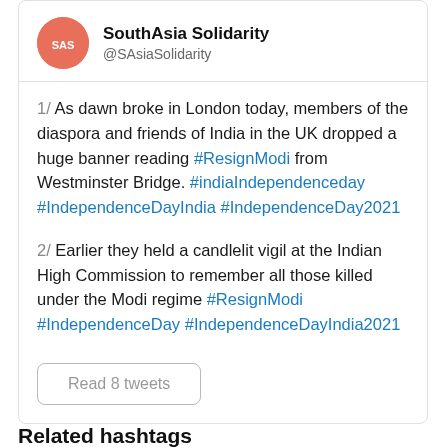SouthAsia Solidarity @SAsiaSolidarity
1/ As dawn broke in London today, members of the diaspora and friends of India in the UK dropped a huge banner reading #ResignModi from Westminster Bridge. #indiaIndependenceday #IndependenceDayIndia #IndependenceDay2021
2/ Earlier they held a candlelit vigil at the Indian High Commission to remember all those killed under the Modi regime #ResignModi #IndependenceDay #IndependenceDayIndia2021
Read 8 tweets
Related hashtags